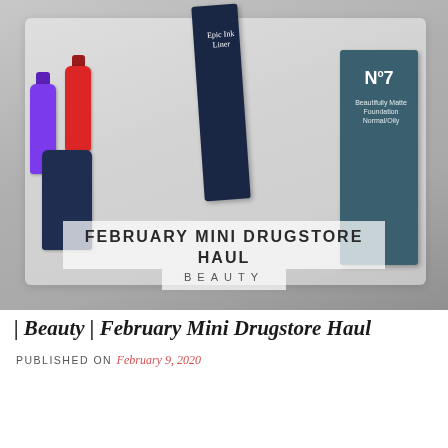[Figure (photo): Blog post hero image showing drugstore beauty products: Super Gel nail polishes (purple and red bottles), No7 Beautifully Matte Foundation box, and a NYX Epic Ink Liner box, arranged on a white tray. Overlaid text reads 'FEBRUARY MINI DRUGSTORE HAUL' and 'BEAUTY'.]
| Beauty | February Mini Drugstore Haul
PUBLISHED ON February 9, 2020